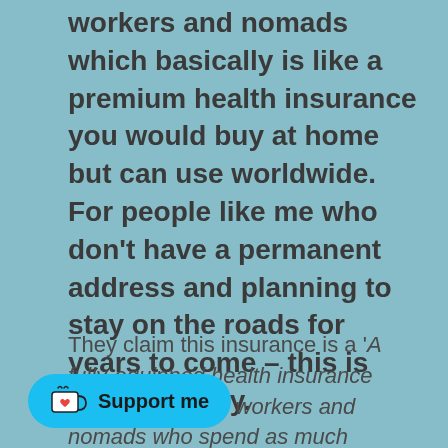workers and nomads which basically is like a premium health insurance you would buy at home but can use worldwide. For people like me who don't have a permanent address and planning to stay on the roads for years to come – this is revolutionary.
They claim this insurance is a 'A fully-equipped health insurance made for remote workers and nomads who spend as much [time abroad as] they please. Full coverage in your home country, and no exclusions for
[Figure (other): Support me button with Ko-fi cup icon]